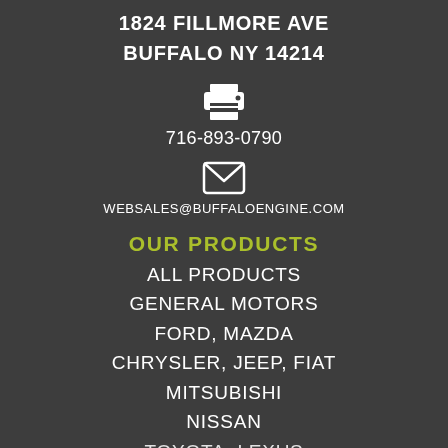1824 FILLMORE AVE
BUFFALO NY 14214
[Figure (other): Printer icon (white)]
716-893-0790
[Figure (other): Envelope/mail icon (white)]
WEBSALES@BUFFALOENGINE.COM
OUR PRODUCTS
ALL PRODUCTS
GENERAL MOTORS
FORD, MAZDA
CHRYSLER, JEEP, FIAT
MITSUBISHI
NISSAN
TOYOTA, LEXUS